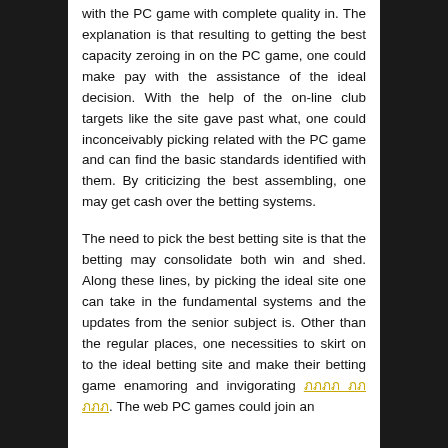with the PC game with complete quality in. The explanation is that resulting to getting the best capacity zeroing in on the PC game, one could make pay with the assistance of the ideal decision. With the help of the on-line club targets like the site gave past what, one could inconceivably picking related with the PC game and can find the basic standards identified with them. By criticizing the best assembling, one may get cash over the betting systems.
The need to pick the best betting site is that the betting may consolidate both win and shed. Along these lines, by picking the ideal site one can take in the fundamental systems and the updates from the senior subject is. Other than the regular places, one necessities to skirt on to the ideal betting site and make their betting game enamoring and invigorating [link]. The web PC games could join an